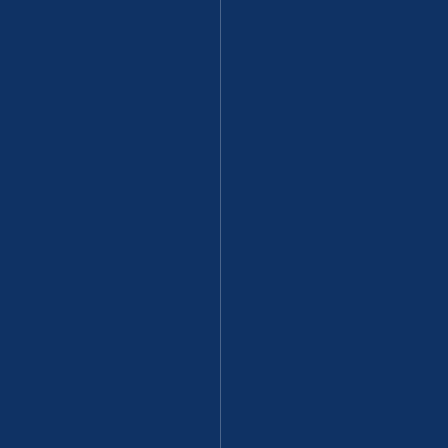s. And while there were certainly so